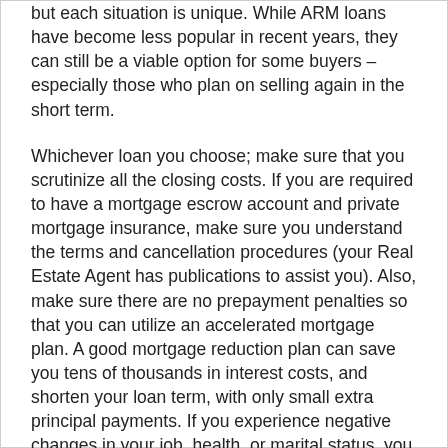but each situation is unique. While ARM loans have become less popular in recent years, they can still be a viable option for some buyers – especially those who plan on selling again in the short term.
Whichever loan you choose; make sure that you scrutinize all the closing costs. If you are required to have a mortgage escrow account and private mortgage insurance, make sure you understand the terms and cancellation procedures (your Real Estate Agent has publications to assist you). Also, make sure there are no prepayment penalties so that you can utilize an accelerated mortgage plan. A good mortgage reduction plan can save you tens of thousands in interest costs, and shorten your loan term, with only small extra principal payments. If you experience negative changes in your job, health, or marital status, you can revert to the standard payments in your